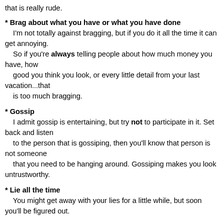that is really rude.
* Brag about what you have or what you have done
    I'm not totally against bragging, but if you do it all the time it can get annoying.
    So if you're always telling people about how much money you have, how
    good you think you look, or every little detail from your last vacation...that
    is too much bragging.
* Gossip
    I admit gossip is entertaining, but try not to participate in it. Set back and listen
    to the person that is gossiping, then you'll know that person is not someone
    that you need to be hanging around. Gossiping makes you look untrustworthy.
* Lie all the time
    You might get away with your lies for a little while, but soon you'll be figured out.